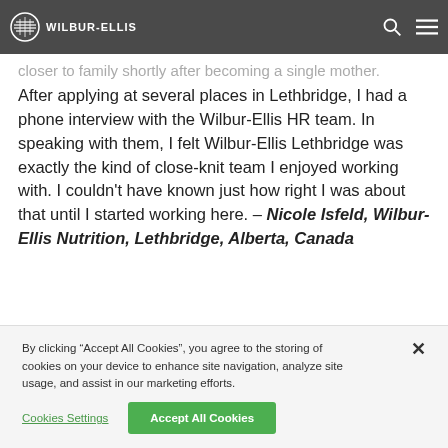WILBUR-ELLIS
closer to family shortly after becoming a single mother. After applying at several places in Lethbridge, I had a phone interview with the Wilbur-Ellis HR team. In speaking with them, I felt Wilbur-Ellis Lethbridge was exactly the kind of close-knit team I enjoyed working with. I couldn't have known just how right I was about that until I started working here. – Nicole Isfeld, Wilbur-Ellis Nutrition, Lethbridge, Alberta, Canada
By clicking “Accept All Cookies”, you agree to the storing of cookies on your device to enhance site navigation, analyze site usage, and assist in our marketing efforts.